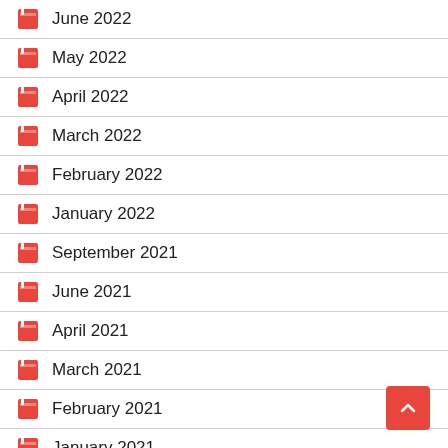June 2022
May 2022
April 2022
March 2022
February 2022
January 2022
September 2021
June 2021
April 2021
March 2021
February 2021
January 2021
December 2020